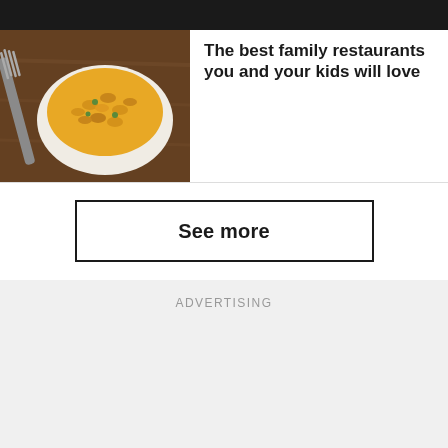[Figure (photo): Overhead photo of a bowl of macaroni and cheese with a fork]
The best family restaurants you and your kids will love
See more
ADVERTISING